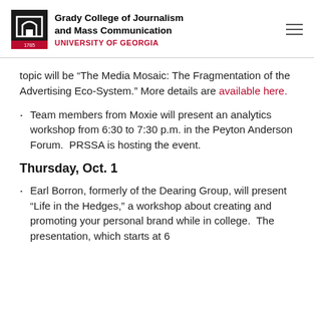Grady College of Journalism and Mass Communication UNIVERSITY OF GEORGIA
topic will be “The Media Mosaic: The Fragmentation of the Advertising Eco-System.” More details are available here.
Team members from Moxie will present an analytics workshop from 6:30 to 7:30 p.m. in the Peyton Anderson Forum.  PRSSA is hosting the event.
Thursday, Oct. 1
Earl Borron, formerly of the Dearing Group, will present “Life in the Hedges,” a workshop about creating and promoting your personal brand while in college.  The presentation, which starts at 6